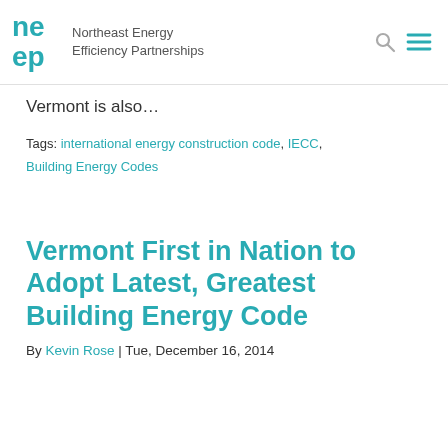Northeast Energy Efficiency Partnerships
Vermont is also…
Tags: international energy construction code, IECC, Building Energy Codes
Vermont First in Nation to Adopt Latest, Greatest Building Energy Code
By Kevin Rose | Tue, December 16, 2014